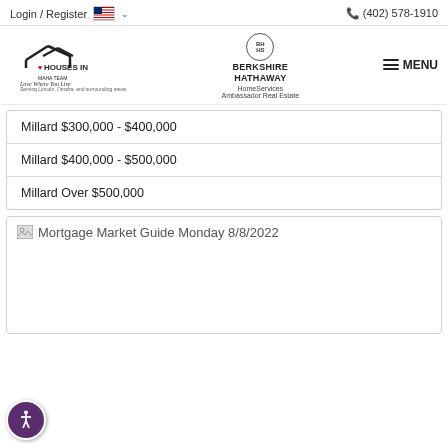Login / Register  (402) 578-1910
[Figure (logo): Houses in Omaha Team - Love Where You Live logo and Berkshire Hathaway HomeServices Ambassador Real Estate logo, with MENU button]
Millard $300,000 - $400,000
Millard $400,000 - $500,000
Millard Over $500,000
[Figure (screenshot): Mortgage Market Guide Monday 8/8/2022 - image placeholder (broken image icon)]